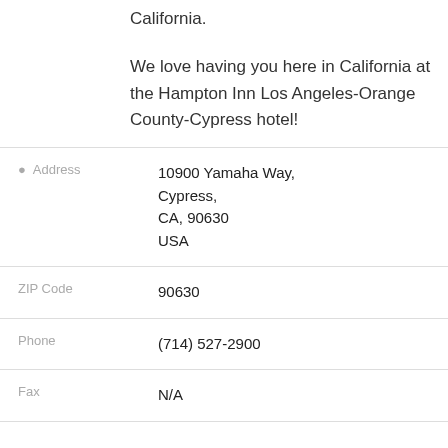California.
We love having you here in California at the Hampton Inn Los Angeles-Orange County-Cypress hotel!
Address: 10900 Yamaha Way, Cypress, CA, 90630 USA
ZIP Code: 90630
Phone: (714) 527-2900
Fax: N/A